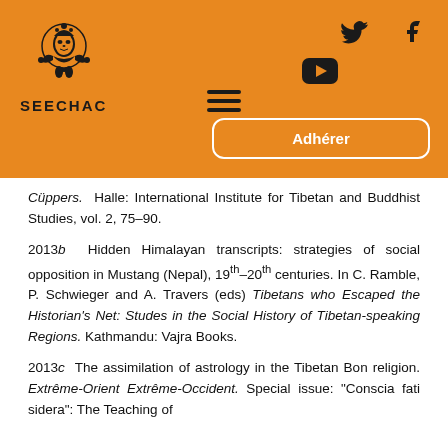[Figure (logo): SEECHAC organization logo with decorative figure and text 'SEECHAC' below]
Cüppers. Halle: International Institute for Tibetan and Buddhist Studies, vol. 2, 75–90.
2013b  Hidden Himalayan transcripts: strategies of social opposition in Mustang (Nepal), 19th–20th centuries. In C. Ramble, P. Schwieger and A. Travers (eds) Tibetans who Escaped the Historian's Net: Studes in the Social History of Tibetan-speaking Regions. Kathmandu: Vajra Books.
2013c  The assimilation of astrology in the Tibetan Bon religion. Extrême-Orient Extrême-Occident. Special issue: "Conscia fati sidera": The Teaching of